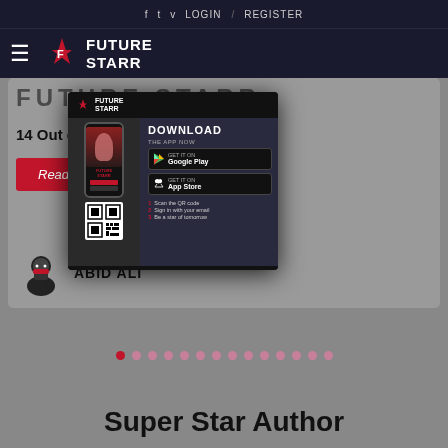f  t  v  LOGIN  /  REGISTER
[Figure (logo): Future Starr logo with hamburger menu icon on dark navy background]
[Figure (screenshot): Future Starr website carousel card showing 14 Out of 20 article with Read More button and Abid Ali author, overlaid by Future Starr app download modal popup]
[Figure (infographic): Future Starr app download popup with phone mockup, Google Play and App Store buttons, QR code, and 3 step instructions]
Super Star Author